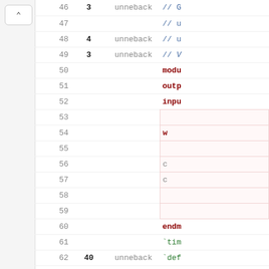| Line | Hits | Coverage | Code |
| --- | --- | --- | --- |
| 46 | 3 | unneback | // G... |
| 47 |  |  | // u... |
| 48 | 4 | unneback | // u... |
| 49 | 3 | unneback | // V... |
| 50 |  |  | modu... |
| 51 |  |  | outp... |
| 52 |  |  | inpu... |
| 53 |  |  |  |
| 54 |  |  |  |
| 55 |  |  |  |
| 56 |  |  |  |
| 57 |  |  |  |
| 58 |  |  |  |
| 59 |  |  |  |
| 60 |  |  | endm... |
| 61 |  |  | `tim... |
| 62 | 40 | unneback | `def... |
| 63 |  |  | modu... |
| 64 |  |  | `und... |
| 65 | 3 | unneback | inpu... |
| 66 |  |  | outp... |